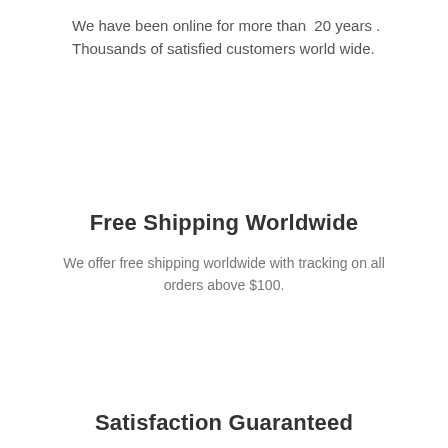We have been online for more than 20 years . Thousands of satisfied customers world wide.
Free Shipping Worldwide
We offer free shipping worldwide with tracking on all orders above $100.
Satisfaction Guaranteed